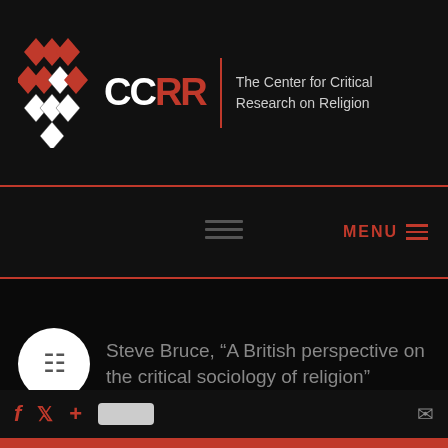[Figure (logo): CCRR logo with geometric diamond pattern in red and white, text 'CCRR' with 'The Center for Critical Research on Religion']
MENU
Steve Bruce, “A British perspective on the critical sociology of religion”
[Figure (infographic): Social media icons: Facebook, Twitter, Google Plus share button, and email icon]